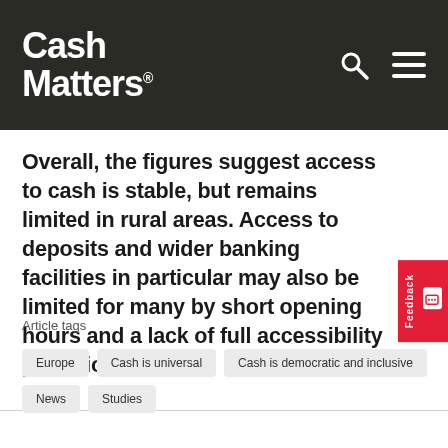Cash Matters®
Overall, the figures suggest access to cash is stable, but remains limited in rural areas. Access to deposits and wider banking facilities in particular may also be limited for many by short opening hours and a lack of full accessibility provisions.
Article tags
Europe
Cash is universal
Cash is democratic and inclusive
News
Studies